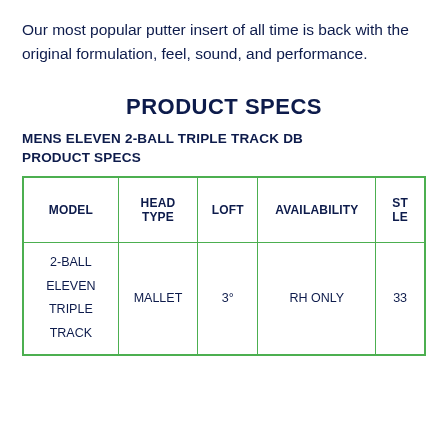Our most popular putter insert of all time is back with the original formulation, feel, sound, and performance.
PRODUCT SPECS
MENS ELEVEN 2-BALL TRIPLE TRACK DB PRODUCT SPECS
| MODEL | HEAD TYPE | LOFT | AVAILABILITY | ST LE |
| --- | --- | --- | --- | --- |
| 2-BALL ELEVEN TRIPLE TRACK | MALLET | 3° | RH ONLY | 33 |